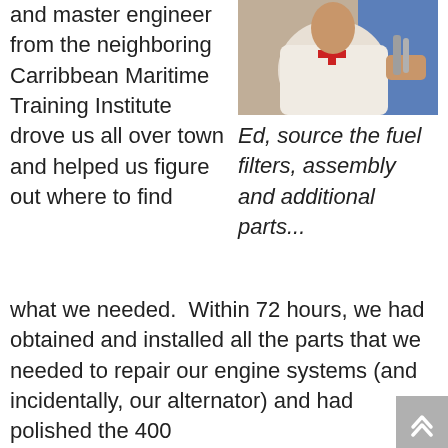and master engineer from the neighboring Carribbean Maritime Training Institute drove us all over town and helped us figure out where to find what we needed.
[Figure (photo): Photo of a person wearing a white t-shirt with a red cross logo, holding items, with a blue background]
Ed, source the fuel filters, assembly and additional parts...
Within 72 hours, we had obtained and installed all the parts that we needed to repair our engine systems (and incidentally, our alternator) and had polished the 400